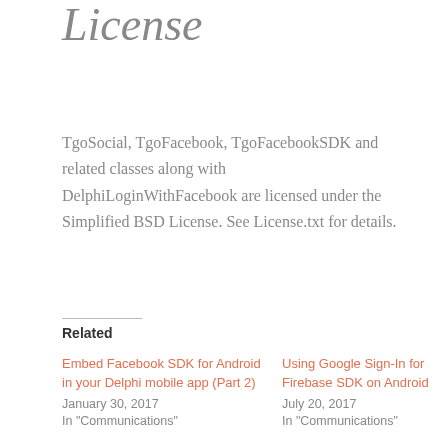License
TgoSocial, TgoFacebook, TgoFacebookSDK and related classes along with DelphiLoginWithFacebook are licensed under the Simplified BSD License. See License.txt for details.
Related
Embed Facebook SDK for Android in your Delphi mobile app (Part 2)
January 30, 2017
In "Communications"
Using Google Sign-In for Firebase SDK on Android
July 20, 2017
In "Communications"
Build your own Error Reporter – Part 1: iOS
February 9, 2017